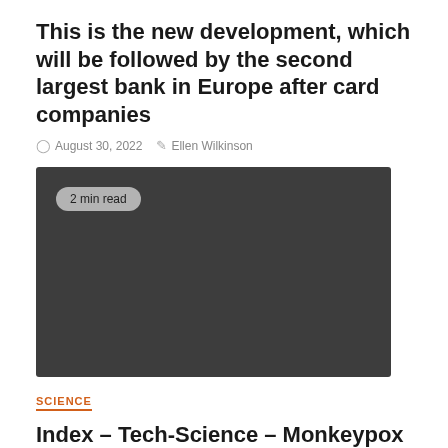This is the new development, which will be followed by the second largest bank in Europe after card companies
August 30, 2022   Ellen Wilkinson
[Figure (photo): Dark gray/charcoal colored image placeholder with a '2 min read' badge in the upper left corner]
SCIENCE
Index – Tech-Science – Monkeypox could